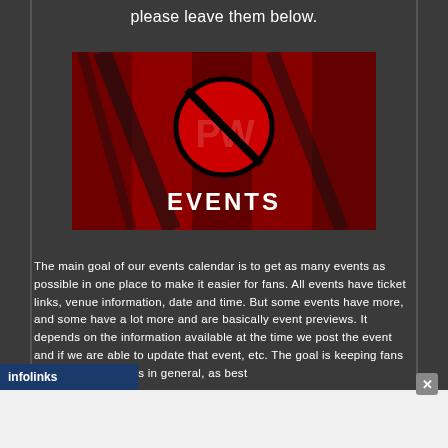please leave them below.
[Figure (illustration): Red and black graphic image with a circular PW logo and the word EVENTS in white bold text below it]
The main goal of our events calendar is to get as many events as possible in one place to make it easier for fans. All events have ticket links, venue information, date and time. But some events have more, and some have a lot more and are basically event previews. It depends on the information available at the time we post the event and if we are able to update that event, etc. The goal is keeping fans up to date on events in general, as best